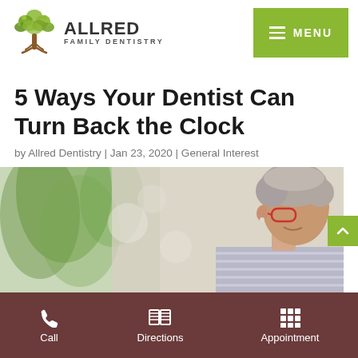[Figure (logo): Allred Family Dentistry logo with a stylized tree and text]
5 Ways Your Dentist Can Turn Back the Clock
by Allred Dentistry | Jan 23, 2020 | General Interest
[Figure (photo): Side profile of an older woman with short gray hair and red glasses, smiling, with a blurred green plant background]
Call  Directions  Appointment